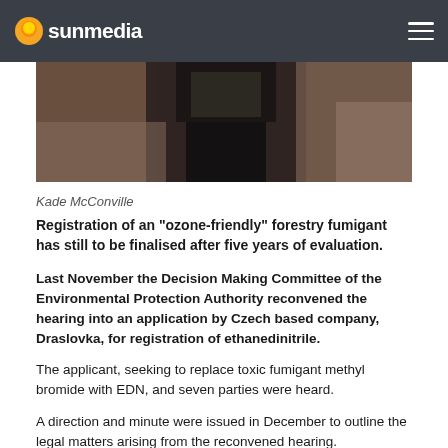sunmedia
[Figure (photo): Dark blurred photo of a person in black clothing, dimly lit background]
Kade McConville
Registration of an “ozone-friendly” forestry fumigant has still to be finalised after five years of evaluation.
Last November the Decision Making Committee of the Environmental Protection Authority reconvened the hearing into an application by Czech based company, Draslovka, for registration of ethanedinitrile.
The applicant, seeking to replace toxic fumigant methyl bromide with EDN, and seven parties were heard.
A direction and minute were issued in December to outline the legal matters arising from the reconvened hearing.
The applicant and submitters were asked to respond to